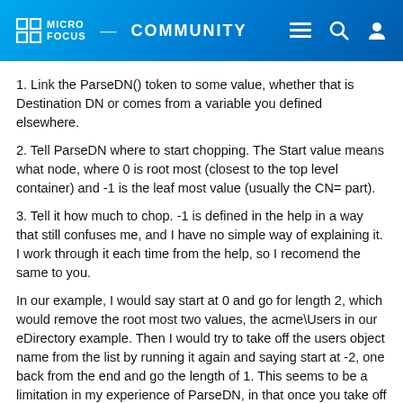Micro Focus Community
1. Link the ParseDN() token to some value, whether that is Destination DN or comes from a variable you defined elsewhere.
2. Tell ParseDN where to start chopping. The Start value means what node, where 0 is root most (closest to the top level container) and -1 is the leaf most value (usually the CN= part).
3. Tell it how much to chop. -1 is defined in the help in a way that still confuses me, and I have no simple way of explaining it. I work through it each time from the help, so I recomend the same to you.
In our example, I would say start at 0 and go for length 2, which would remove the root most two values, the acme\Users in our eDirectory example. Then I would try to take off the users object name from the list by running it again and saying start at -2, one back from the end and go the length of 1. This seems to be a limitation in my experience of ParseDN, in that once you take off something from the root most nodes, you cannot use it again on the DN.
So just reverse the order: